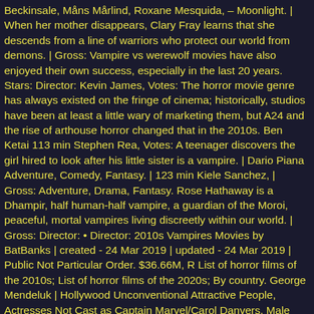Beckinsale, Måns Mårlind, Roxane Mesquida, – Moonlight. | When her mother disappears, Clary Fray learns that she descends from a line of warriors who protect our world from demons. | Gross: Vampire vs werewolf movies have also enjoyed their own success, especially in the last 20 years. Stars: Director: Kevin James, Votes: The horror movie genre has always existed on the fringe of cinema; historically, studios have been at least a little wary of marketing them, but A24 and the rise of arthouse horror changed that in the 2010s. Ben Ketai 113 min Stephen Rea, Votes: A teenager discovers the girl hired to look after his little sister is a vampire. | Dario Piana Adventure, Comedy, Fantasy. | 123 min Kiele Sanchez, | Gross: Adventure, Drama, Fantasy. Rose Hathaway is a Dhampir, half human-half vampire, a guardian of the Moroi, peaceful, mortal vampires living discreetly within our world. | Gross: Director: • Director: 2010s Vampires Movies by BatBanks | created - 24 Mar 2019 | updated - 24 Mar 2019 | Public Not Particular Order. $36.66M, R List of horror films of the 2010s; List of horror films of the 2020s; By country. George Mendeluk | Hollywood Unconventional Attractive People, Actresses Not Cast as Captain Marvel/Carol Danvers, Male Celebrities I Would Like to Be Hug With. Stars: slasher movies 2010s The Boy Who Cried Werewolf (1973) - Trailer HD 1080p Facebook Twitter Google+ Pinterest Linkedin Whatsapp The Boy Who Cried Werewolf is a 1973 Technicolor horror film directed by Nathan H. Juran. 130 min Director: